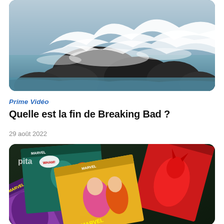[Figure (photo): Ocean waves crashing against large dark rocks, white foam and spray visible, outdoor coastal scene]
Prime Vidéo
Quelle est la fin de Breaking Bad ?
29 août 2022
[Figure (photo): Collection of colorful Marvel comic books spread out on a surface, showing superhero illustrations and characters]